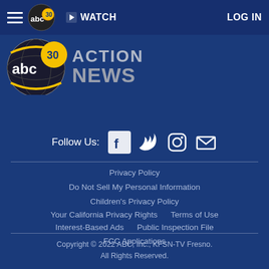☰  abc30  ▶ WATCH  LOG IN
[Figure (logo): ABC30 Action News logo with globe and yellow '30' badge, followed by 'ACTION NEWS' text in gray]
Follow Us:
[Figure (infographic): Social media icons: Facebook, Twitter, Instagram, Email]
Privacy Policy
Do Not Sell My Personal Information
Children's Privacy Policy
Your California Privacy Rights    Terms of Use
Interest-Based Ads    Public Inspection File
FCC Applications
Copyright © 2022 ABC, Inc., KFSN-TV Fresno. All Rights Reserved.